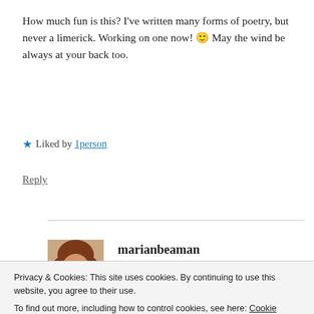How much fun is this? I've written many forms of poetry, but never a limerick. Working on one now! 🙂 May the wind be always at your back too.
★ Liked by 1person
Reply
marianbeaman
Privacy & Cookies: This site uses cookies. By continuing to use this website, you agree to their use. To find out more, including how to control cookies, see here: Cookie Policy
Close and accept
Pamela.